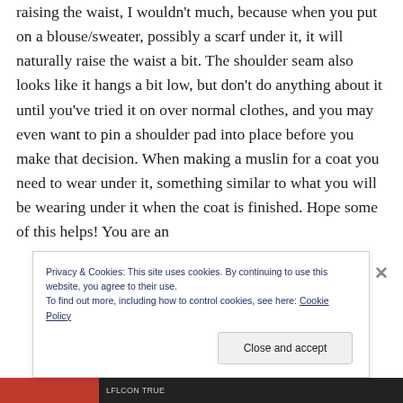raising the waist, I wouldn't much, because when you put on a blouse/sweater, possibly a scarf under it, it will naturally raise the waist a bit. The shoulder seam also looks like it hangs a bit low, but don't do anything about it until you've tried it on over normal clothes, and you may even want to pin a shoulder pad into place before you make that decision. When making a muslin for a coat you need to wear under it, something similar to what you will be wearing under it when the coat is finished. Hope some of this helps! You are an
Privacy & Cookies: This site uses cookies. By continuing to use this website, you agree to their use.
To find out more, including how to control cookies, see here: Cookie Policy
Close and accept